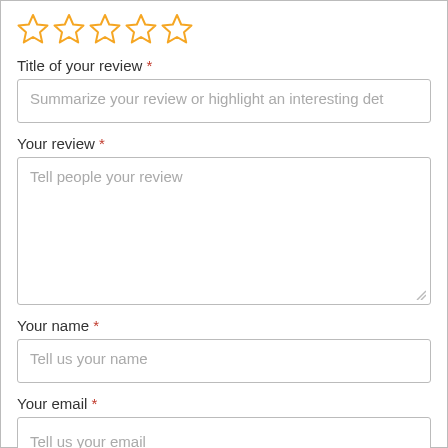[Figure (other): Five empty star rating icons in gold/orange outline style]
Title of your review *
Summarize your review or highlight an interesting det
Your review *
Tell people your review
Your name *
Tell us your name
Your email *
Tell us your email